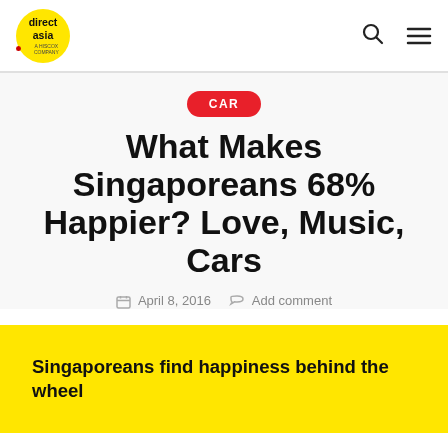direct asia — A HISCOX COMPANY
CAR
What Makes Singaporeans 68% Happier? Love, Music, Cars
April 8, 2016   Add comment
Singaporeans find happiness behind the wheel
The results are in. Singaporeans have a